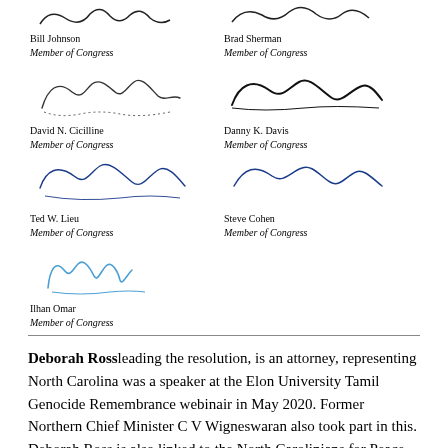[Figure (illustration): Handwritten signature of Bill Johnson]
Bill Johnson
Member of Congress
[Figure (illustration): Handwritten signature of Brad Sherman]
Brad Sherman
Member of Congress
[Figure (illustration): Handwritten signature of David N. Cicilline]
David N. Cicilline
Member of Congress
[Figure (illustration): Handwritten signature of Danny K. Davis]
Danny K. Davis
Member of Congress
[Figure (illustration): Handwritten signature of Ted W. Lieu]
Ted W. Lieu
Member of Congress
[Figure (illustration): Handwritten signature of Steve Cohen]
Steve Cohen
Member of Congress
[Figure (illustration): Handwritten signature of Ilhan Omar]
Ilhan Omar
Member of Congress
Deborah Rossleading the resolution, is an attorney, representing North Carolina was a speaker at the Elon University Tamil Genocide Remembrance webinair in May 2020. Former Northern Chief Minister C V Wigneswaran also took part in this. Deborah Ross is also linked to the North Carolinians for Peace that covered the